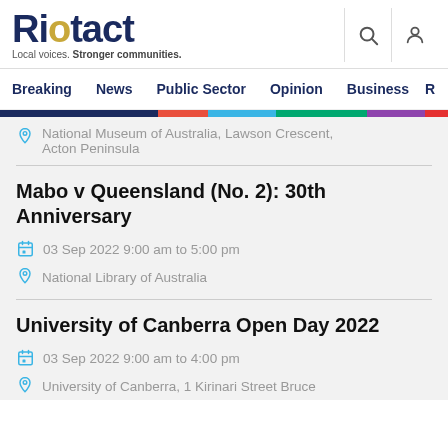Riotact — Local voices. Stronger communities.
Breaking | News | Public Sector | Opinion | Business
National Museum of Australia, Lawson Crescent, Acton Peninsula
Mabo v Queensland (No. 2): 30th Anniversary
03 Sep 2022 9:00 am to 5:00 pm
National Library of Australia
University of Canberra Open Day 2022
03 Sep 2022 9:00 am to 4:00 pm
University of Canberra, 1 Kirinari Street Bruce